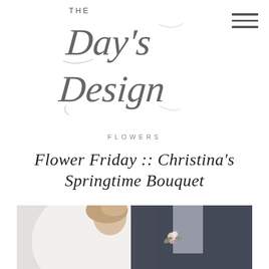[Figure (logo): The Day's Design cursive script logo with 'THE' in small caps above and a decorative calligraphy script reading 'Day's Design' below]
[Figure (other): Hamburger menu icon with three horizontal lines in top right corner]
FLOWERS
Flower Friday :: Christina's Springtime Bouquet
[Figure (photo): Close-up photo of a bride and groom, the bride has an updo hairstyle and is wearing white, the groom is wearing a dark navy suit with a boutonniere featuring a small pink flower and greenery]